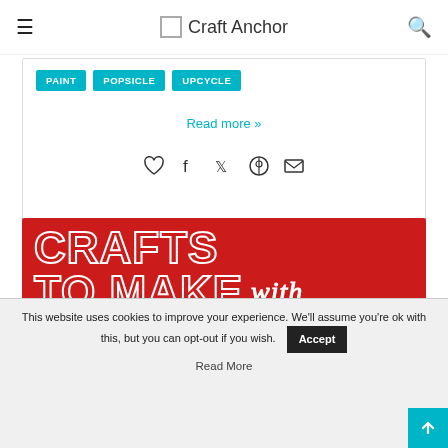Craft Anchor
PAINT
POPSICLE
UPCYCLE
Read more »
[Figure (infographic): Social sharing icons: heart, facebook, twitter, pinterest, email]
[Figure (infographic): Red banner image with white outlined text: CRAFTS TO MAKE with GIFT WRAP]
This website uses cookies to improve your experience. We'll assume you're ok with this, but you can opt-out if you wish.
Accept
Read More